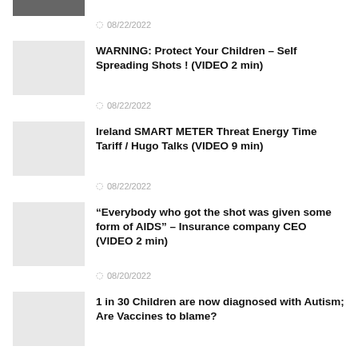[Figure (photo): Partial thumbnail image at top, partially cropped]
08/22/2022
WARNING: Protect Your Children – Self Spreading Shots ! (VIDEO 2 min)
08/22/2022
Ireland SMART METER Threat Energy Time Tariff / Hugo Talks (VIDEO 9 min)
08/22/2022
“Everybody who got the shot was given some form of AIDS” – Insurance company CEO (VIDEO 2 min)
08/20/2022
1 in 30 Children are now diagnosed with Autism; Are Vaccines to blame?